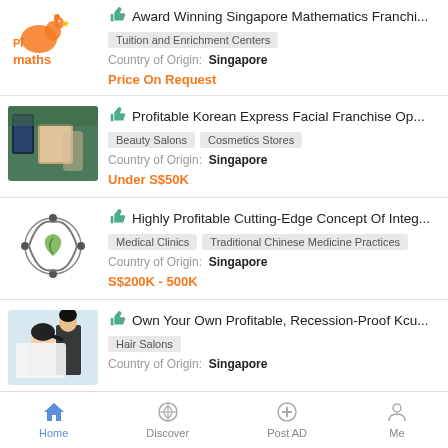[Figure (logo): Pimaths logo - orange kangaroo with star, text Pimaths]
Award Winning Singapore Mathematics Franchi...
Tuition and Enrichment Centers
Country of Origin: Singapore
Price On Request
[Figure (photo): Interior of a beauty salon/spa with green wall and display screen]
Profitable Korean Express Facial Franchise Op...
Beauty Salons  Cosmetics Stores
Country of Origin: Singapore
Under S$50K
[Figure (logo): Circular logo with heart shape and arrows, green and black]
Highly Profitable Cutting-Edge Concept Of Integ...
Medical Clinics  Traditional Chinese Medicine Practices
Country of Origin: Singapore
S$200K - 500K
[Figure (photo): Hairdresser cutting hair of seated customer in salon]
Own Your Own Profitable, Recession-Proof Kcu...
Hair Salons
Country of Origin: Singapore
Home  Discover  Post AD  Me